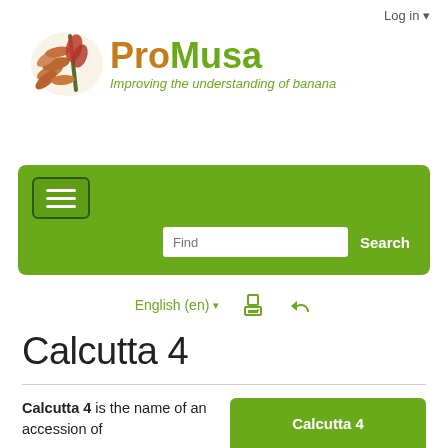Log in ▾
[Figure (logo): ProMusa logo with banana flower illustration and tagline 'Improving the understanding of banana']
[Figure (screenshot): Green navigation bar with hamburger menu button and search field with 'Find' placeholder and 'Search' button]
English (en) ▾  [print icon]  [back icon]
Calcutta 4
Calcutta 4 is the name of an accession of
[Figure (illustration): Green banner labeled 'Calcutta 4' with banana leaf photo below]